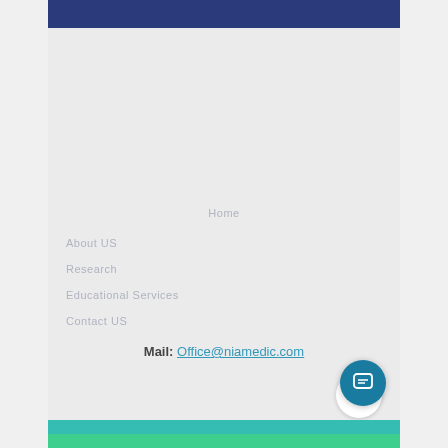Home
About US
Research
Educational Services
Contact US
Mail: Office@niamedic.com